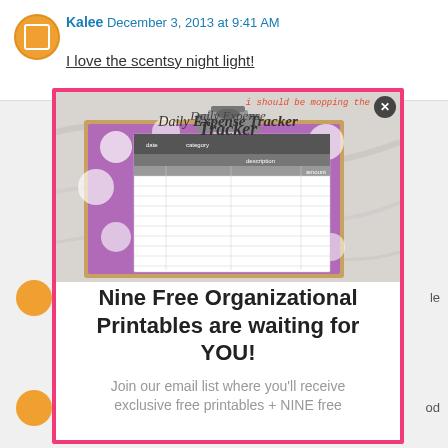Kalee  December 3, 2013 at 9:41 AM
I love the scentsy night light!
[Figure (screenshot): Modal popup with pink border showing a Daily Expense Tracker printable on a purple polka-dot clipboard background, with blog watermark and close button]
Nine Free Organizational Printables are waiting for YOU!
Join our email list where you'll receive exclusive free printables + NINE free